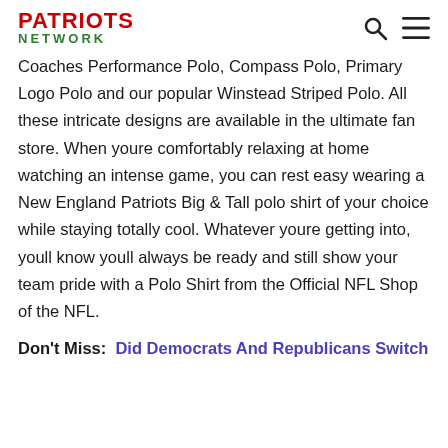PATRIOTS NETWORK
Coaches Performance Polo, Compass Polo, Primary Logo Polo and our popular Winstead Striped Polo. All these intricate designs are available in the ultimate fan store. When youre comfortably relaxing at home watching an intense game, you can rest easy wearing a New England Patriots Big & Tall polo shirt of your choice while staying totally cool. Whatever youre getting into, youll know youll always be ready and still show your team pride with a Polo Shirt from the Official NFL Shop of the NFL.
Don't Miss:  Did Democrats And Republicans Switch